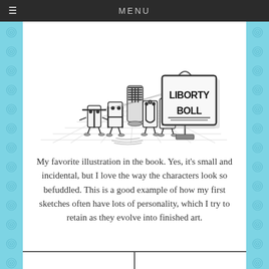MENU
[Figure (illustration): Sketch-style cartoon illustration showing anthropomorphized letters T, H, U, D standing on a tiled floor, looking befuddled. In the foreground is a sign on a stand reading 'LIBORTY BOLL' — a humorous misspelling of 'Liberty Bell'. The characters have simple stick-like limbs and wide eyes expressing confusion.]
My favorite illustration in the book. Yes, it's small and incidental, but I love the way the characters look so befuddled. This is a good example of how my first sketches often have lots of personality, which I try to retain as they evolve into finished art.